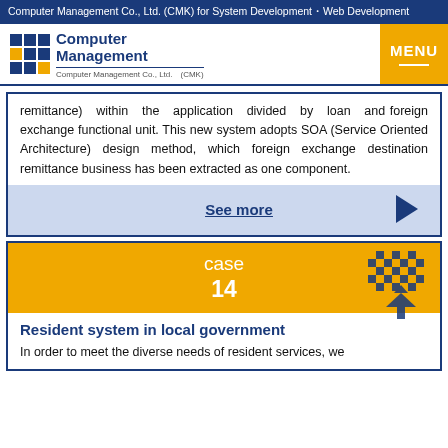Computer Management Co., Ltd. (CMK) for System Development・Web Development
[Figure (logo): Computer Management Co., Ltd. (CMK) logo with blue and yellow grid icon and company name]
remittance) within the application divided by loan and foreign exchange functional unit. This new system adopts SOA (Service Oriented Architecture) design method, which foreign exchange destination remittance business has been extracted as one component.
See more
case 14
Resident system in local government
In order to meet the diverse needs of resident services, we